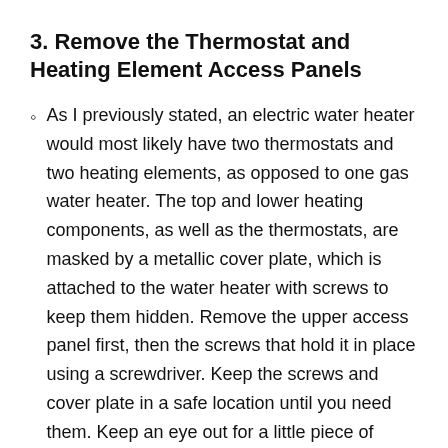3. Remove the Thermostat and Heating Element Access Panels
As I previously stated, an electric water heater would most likely have two thermostats and two heating elements, as opposed to one gas water heater. The top and lower heating components, as well as the thermostats, are masked by a metallic cover plate, which is attached to the water heater with screws to keep them hidden. Remove the upper access panel first, then the screws that hold it in place using a screwdriver. Keep the screws and cover plate in a safe location until you need them. Keep an eye out for a little piece of insulation that will be visible once the panel has been taken off the wall. You have two